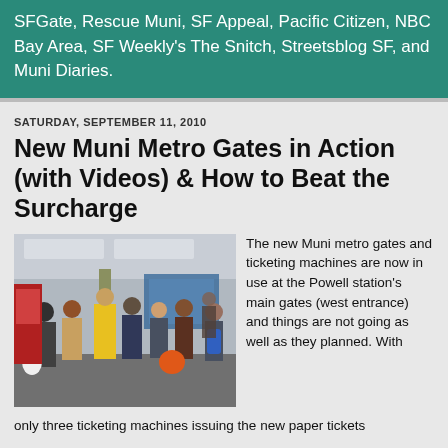SFGate, Rescue Muni, SF Appeal, Pacific Citizen, NBC Bay Area, SF Weekly's The Snitch, Streetsblog SF, and Muni Diaries.
SATURDAY, SEPTEMBER 11, 2010
New Muni Metro Gates in Action (with Videos) & How to Beat the Surcharge
[Figure (photo): Photo of a crowded Muni metro station interior showing passengers and a worker in a yellow safety vest near the entrance gates, with ticketing machines visible in the background.]
The new Muni metro gates and ticketing machines are now in use at the Powell station's main gates (west entrance) and things are not going as well as they planned. With only three ticketing machines issuing the new paper tickets